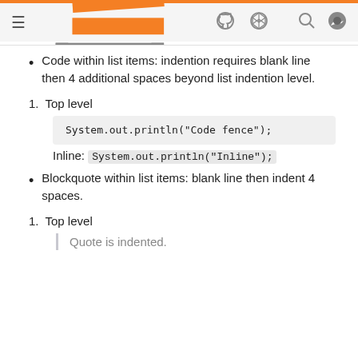Navigation bar with Stack Overflow, GitHub, and CodePen icons
Code within list items: indention requires blank line then 4 additional spaces beyond list indention level.
1. Top level
System.out.println("Code fence");
Inline: System.out.println("Inline");
Blockquote within list items: blank line then indent 4 spaces.
1. Top level
Quote is indented.